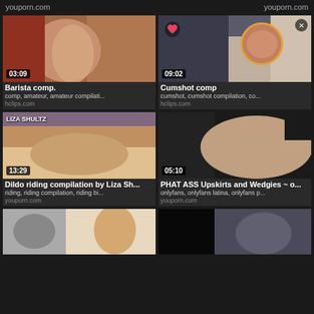youporn.com    youporn.com
[Figure (photo): Video thumbnail for Barista comp. showing female figure, duration 03:09]
Barista comp.
comp, amateur, amateur compilati...
hclips.com
[Figure (photo): Video thumbnail for Cumshot comp. with circle overlay and heart icon, duration 09:02]
Cumshot comp
cumshot, cumshot compilation, co...
hclips.com
[Figure (photo): Video thumbnail for Dildo riding compilation by Liza Shultz, duration 13:29]
Dildo riding compilation by Liza Sh...
riding, riding compilation, riding bi...
youporn.com
[Figure (photo): Video thumbnail for PHAT ASS Upskirts and Wedgies, duration 05:10]
PHAT ASS Upskirts and Wedgies ~ o...
onlyfans, onlyfans latina, onlyfans p...
youporn.com
[Figure (photo): Partial video thumbnail with skull image]
[Figure (photo): Partial dark video thumbnail]